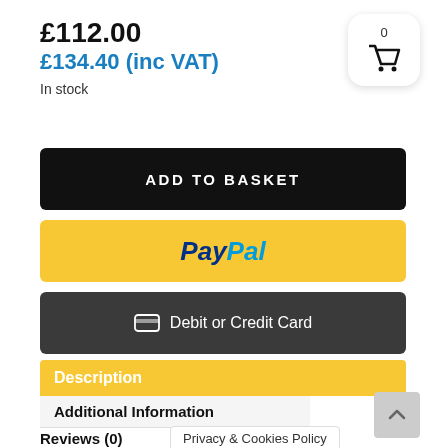£112.00
£134.40 (inc VAT)
In stock
[Figure (illustration): Shopping basket icon with 0 count badge, white rounded square button]
ADD TO BASKET
PayPal
Debit or Credit Card
Description
Additional Information
Reviews (0)
Privacy & Cookies Policy